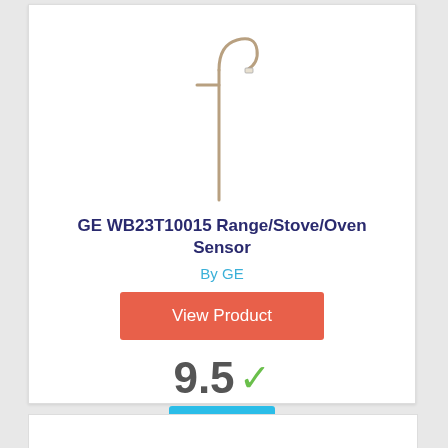[Figure (photo): Product photo of a GE oven temperature sensor probe with a hook shape and wire connector]
GE WB23T10015 Range/Stove/Oven Sensor
By GE
View Product
9.5 ✓
Score